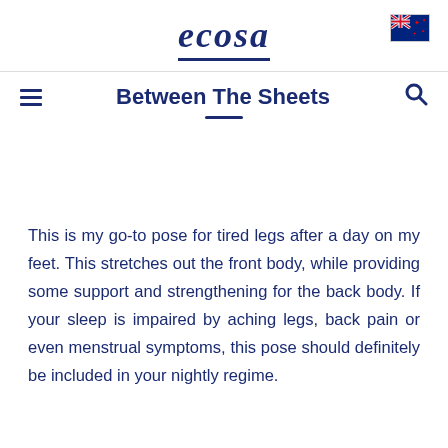ecosa
Between The Sheets
This is my go-to pose for tired legs after a day on my feet. This stretches out the front body, while providing some support and strengthening for the back body. If your sleep is impaired by aching legs, back pain or even menstrual symptoms, this pose should definitely be included in your nightly regime.